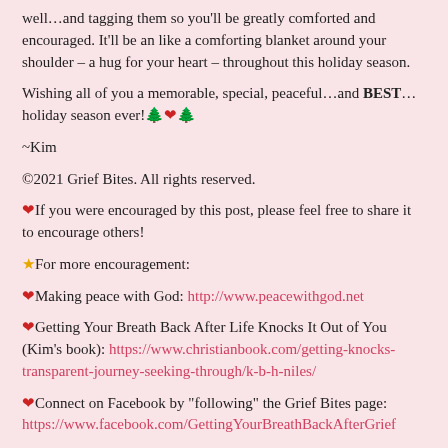well…and tagging them so you'll be greatly comforted and encouraged. It'll be an like a comforting blanket around your shoulder – a hug for your heart – throughout this holiday season.
Wishing all of you a memorable, special, peaceful…and BEST… holiday season ever! 🎄❤️🎄
~Kim
©2021 Grief Bites. All rights reserved.
❤️If you were encouraged by this post, please feel free to share it to encourage others!
⭐For more encouragement:
❤️Making peace with God: http://www.peacewithgod.net
❤️Getting Your Breath Back After Life Knocks It Out of You (Kim's book): https://www.christianbook.com/getting-knocks-transparent-journey-seeking-through/k-b-h-niles/
❤️Connect on Facebook by "following" the Grief Bites page: https://www.facebook.com/GettingYourBreathBackAfterGrief